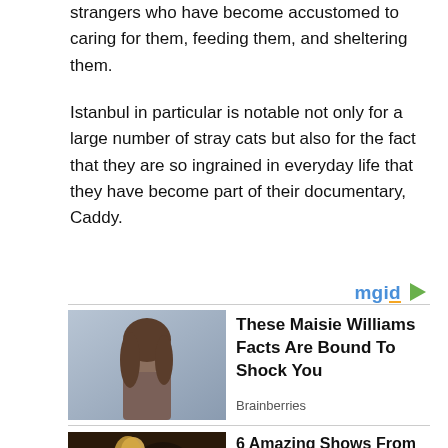strangers who have become accustomed to caring for them, feeding them, and sheltering them.
Istanbul in particular is notable not only for a large number of stray cats but also for the fact that they are so ingrained in everyday life that they have become part of their documentary, Caddy.
[Figure (logo): mgid logo with arrow icon]
[Figure (photo): Portrait of young woman with brown hair against blue-grey background]
These Maisie Williams Facts Are Bound To Shock You
Brainberries
[Figure (photo): Young blonde woman in a dark scene with warm bokeh lighting]
6 Amazing Shows From The 90s That Need A Reboot Right Now
Brainberries